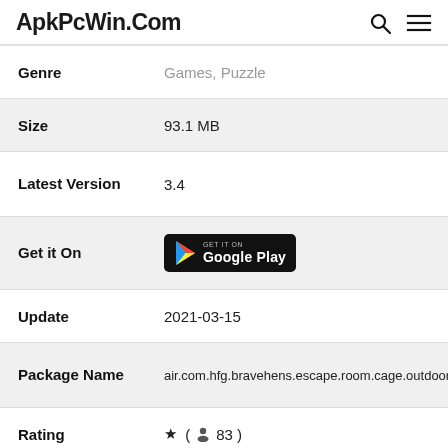ApkPcWin.Com
| Field | Value |
| --- | --- |
| Genre | Games, Puzzle |
| Size | 93.1 MB |
| Latest Version | 3.4 |
| Get it On | Google Play |
| Update | 2021-03-15 |
| Package Name | air.com.hfg.bravehens.escape.room.cage.outdoor.fun.e |
| Rating | ★ ( 👤 83 ) |
| Installs | 50,000+ |